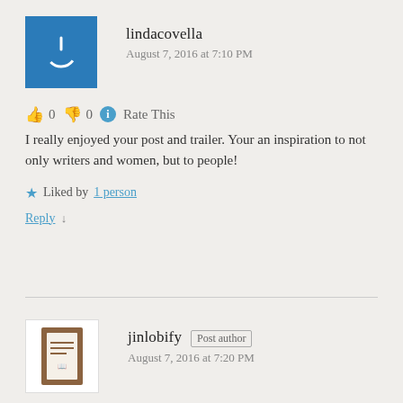lindacovella
August 7, 2016 at 7:10 PM
👍 0 👎 0 ℹ Rate This
I really enjoyed your post and trailer. Your an inspiration to not only writers and women, but to people!
Liked by 1 person
Reply ↓
jinlobify Post author
August 7, 2016 at 7:20 PM
👍 0 👎 0 ℹ Rate This
Thank you so much Linda for your kind words. Good to Know you